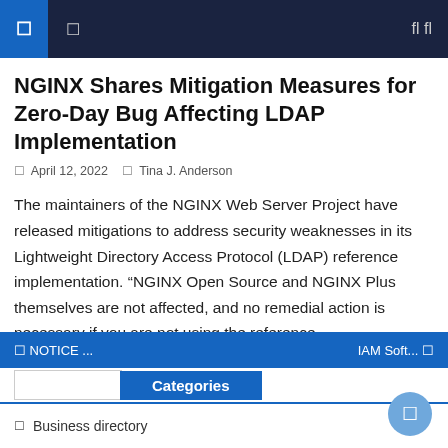Navigation bar with menu icons and search
NGINX Shares Mitigation Measures for Zero-Day Bug Affecting LDAP Implementation
April 12, 2022   Tina J. Anderson
The maintainers of the NGINX Web Server Project have released mitigations to address security weaknesses in its Lightweight Directory Access Protocol (LDAP) reference implementation. “NGINX Open Source and NGINX Plus themselves are not affected, and no remedial action is necessary if you are not using the reference implementation,” F5 Networks’ Liam Crilly and Timo Stark [...]
NOTICE ...   IAM Soft...   Categories
Business directory